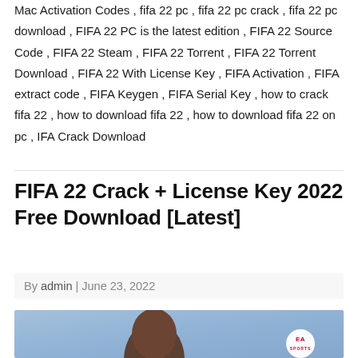Mac Activation Codes , fifa 22 pc , fifa 22 pc crack , fifa 22 pc download , FIFA 22 PC is the latest edition , FIFA 22 Source Code , FIFA 22 Steam , FIFA 22 Torrent , FIFA 22 Torrent Download , FIFA 22 With License Key , FIFA Activation , FIFA extract code , FIFA Keygen , FIFA Serial Key , how to crack fifa 22 , how to download fifa 22 , how to download fifa 22 on pc , IFA Crack Download
FIFA 22 Crack + License Key 2022 Free Download [Latest]
By admin | June 23, 2022
[Figure (photo): FIFA 22 game cover art showing a young Black male athlete looking upward against a blue/purple gradient background, with EA Sports logo in lower right]